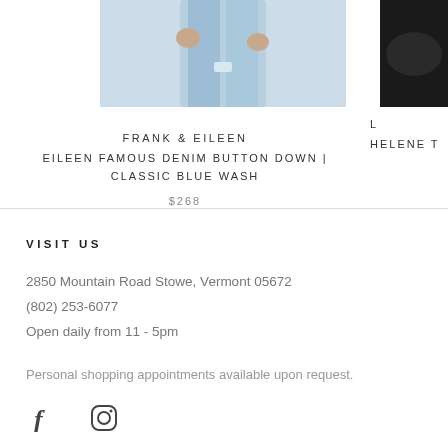[Figure (photo): Product photo of jeans in light blue wash, cropped at waist level showing lower half]
[Figure (photo): Partial product photo on right edge showing dark item, cropped]
FRANK & EILEEN
EILEEN FAMOUS DENIM BUTTON DOWN | CLASSIC BLUE WASH
$268
L
HELENE T
VISIT US
2850 Mountain Road Stowe, Vermont 05672
(802) 253-6077
Open daily from 11 - 5pm
Personal shopping appointments available upon request.
[Figure (illustration): Facebook and Instagram social media icons]